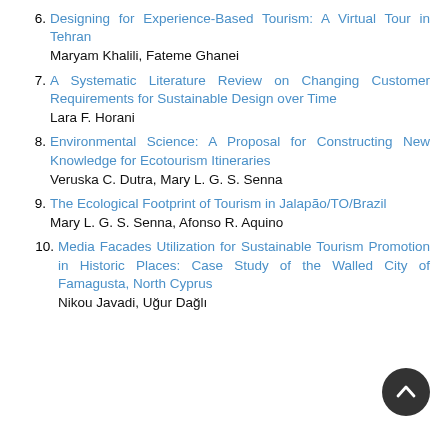6. Designing for Experience-Based Tourism: A Virtual Tour in Tehran
Maryam Khalili, Fateme Ghanei
7. A Systematic Literature Review on Changing Customer Requirements for Sustainable Design over Time
Lara F. Horani
8. Environmental Science: A Proposal for Constructing New Knowledge for Ecotourism Itineraries
Veruska C. Dutra, Mary L. G. S. Senna
9. The Ecological Footprint of Tourism in Jalapão/TO/Brazil
Mary L. G. S. Senna, Afonso R. Aquino
10. Media Facades Utilization for Sustainable Tourism Promotion in Historic Places: Case Study of the Walled City of Famagusta, North Cyprus
Nikou Javadi, Uğur Dağlı